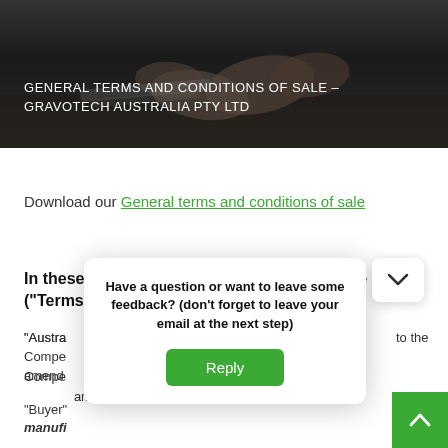[Figure (photo): Hero background photo of two people in suits shaking hands or reviewing documents on a desk, dark overlay applied]
GENERAL TERMS AND CONDITIONS OF SALE – GRAVOTECH AUSTRALIA PTY LTD
Download our General terms and conditions of sale
In these general terms and conditions of sale ("Terms") :
"Austra[lia Consumer Law" means Schedule 2 of the Competition and Consumer Act 2010 (Cth) as amended...]
"Buyer"[means the person, firm, company or] manufacturer...
Have a question or want to leave some feedback? (don't forget to leave your email at the next step)